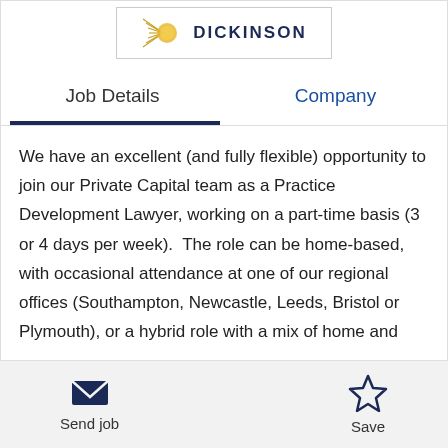[Figure (logo): Womble Bond Dickinson logo with golden sun/lines icon and DICKINSON text]
Job Details
Company
We have an excellent (and fully flexible) opportunity to join our Private Capital team as a Practice Development Lawyer, working on a part-time basis (3 or 4 days per week).  The role can be home-based, with occasional attendance at one of our regional offices (Southampton, Newcastle, Leeds, Bristol or Plymouth), or a hybrid role with a mix of home and
Send job   Save